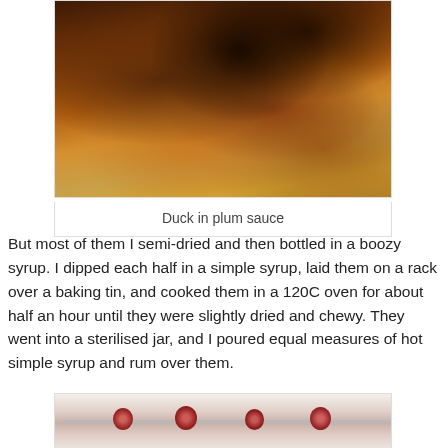[Figure (photo): Close-up photo of duck in plum sauce on a plate, showing caramelized glazed surface with dark brown tones]
Duck in plum sauce
But most of them I semi-dried and then bottled in a boozy syrup. I dipped each half in a simple syrup, laid them on a rack over a baking tin, and cooked them in a 120C oven for about half an hour until they were slightly dried and chewy. They went into a sterilised jar, and I poured equal measures of hot simple syrup and rum over them.
[Figure (photo): Partial photo showing plums on a rack or tray with a fork or utensil visible]